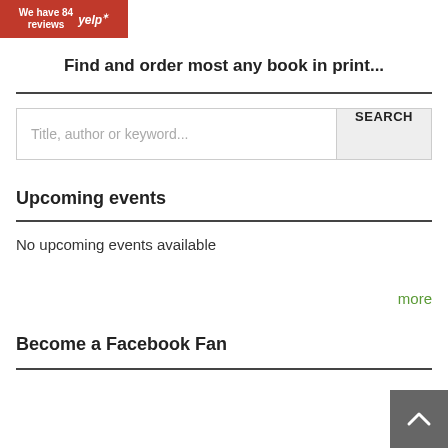[Figure (logo): Yelp badge showing 'We have 84 reviews' with Yelp logo on red background]
Find and order most any book in print...
[Figure (other): Search input box with placeholder 'Title, author or keyword...' and SEARCH button]
Upcoming events
No upcoming events available
more
Become a Facebook Fan